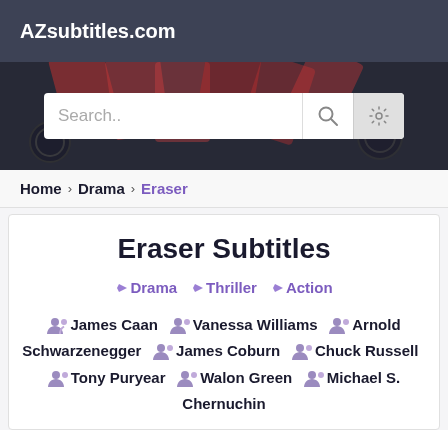AZsubtitles.com
[Figure (screenshot): Search bar with search icon and settings gear icon on a dark background with playing card imagery]
Home > Drama > Eraser
Eraser Subtitles
Drama  Thriller  Action
James Caan  Vanessa Williams  Arnold Schwarzenegger  James Coburn  Chuck Russell  Tony Puryear  Walon Green  Michael S. Chernuchin